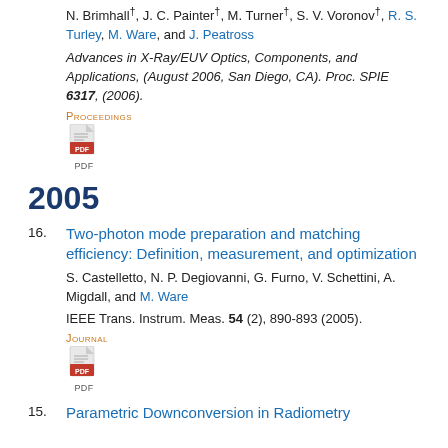N. Brimhall†, J. C. Painter†, M. Turner†, S. V. Voronov†, R. S. Turley, M. Ware, and J. Peatross
Advances in X-Ray/EUV Optics, Components, and Applications, (August 2006, San Diego, CA). Proc. SPIE 6317, (2006).
PROCEEDINGS
[Figure (other): PDF icon]
2005
16.
Two-photon mode preparation and matching efficiency: Definition, measurement, and optimization
S. Castelletto, N. P. Degiovanni, G. Furno, V. Schettini, A. Migdall, and M. Ware
IEEE Trans. Instrum. Meas. 54 (2), 890-893 (2005).
JOURNAL
[Figure (other): PDF icon]
15.
Parametric Downconversion in Radiometry